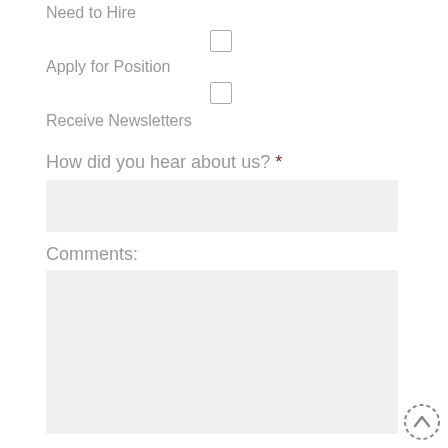Need to Hire
[Figure (other): Unchecked checkbox]
Apply for Position
[Figure (other): Unchecked checkbox]
Receive Newsletters
How did you hear about us? *
[Figure (other): Text input field (empty)]
Comments:
[Figure (other): Multiline text input field (empty)]
[Figure (other): Scroll to top button (circle with up chevron)]